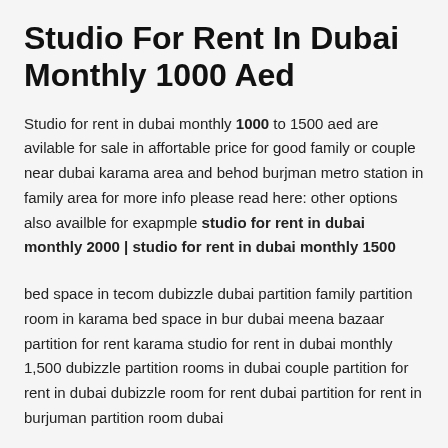Studio For Rent In Dubai Monthly 1000 Aed
Studio for rent in dubai monthly 1000 to 1500 aed are avilable for sale in affortable price for good family or couple near dubai karama area and behod burjman metro station in family area for more info please read here: other options also availble for exapmple studio for rent in dubai monthly 2000 | studio for rent in dubai monthly 1500
bed space in tecom dubizzle dubai partition family partition room in karama bed space in bur dubai meena bazaar partition for rent karama studio for rent in dubai monthly 1,500 dubizzle partition rooms in dubai couple partition for rent in dubai dubizzle room for rent dubai partition for rent in burjuman partition room dubai